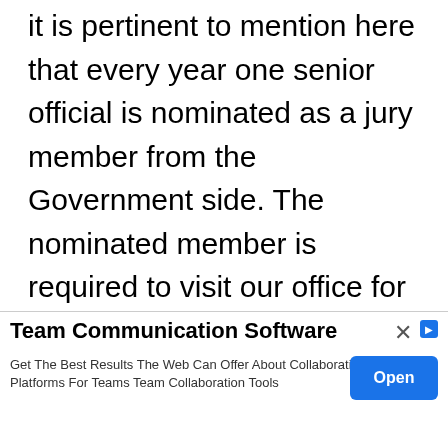it is pertinent to mention here that every year one senior official is nominated as a jury member from the Government side. The nominated member is required to visit our office for shortlisting of paintings received during October 2018 and on the date of competition i.e. -14th November 2018 for selecting best paintings at State level
The last date for submitting paintings 31-
[Figure (other): Advertisement overlay for 'Team Communication Software'. Contains title 'Team Communication Software', body text 'Get The Best Results The Web Can Offer About Collaboration Platforms For Teams Team Collaboration Tools', an 'Open' button, and a close (X) button.]